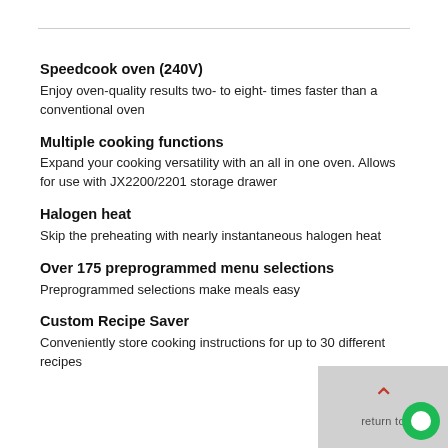Speedcook oven (240V)
Enjoy oven-quality results two- to eight- times faster than a conventional oven
Multiple cooking functions
Expand your cooking versatility with an all in one oven. Allows for use with JX2200/2201 storage drawer
Halogen heat
Skip the preheating with nearly instantaneous halogen heat
Over 175 preprogrammed menu selections
Preprogrammed selections make meals easy
Custom Recipe Saver
Conveniently store cooking instructions for up to 30 different recipes